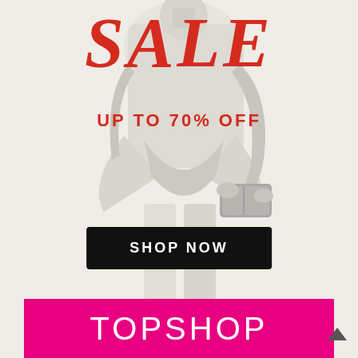[Figure (photo): Fashion advertisement showing a woman in white clothing holding a clutch bag, with 'SALE UP TO 70% OFF' text overlay in red and a 'SHOP NOW' black button, on a cream/beige background]
SALE
UP TO 70% OFF
SHOP NOW
TOPSHOP